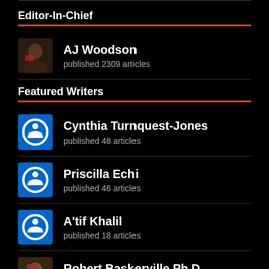Editor-In-Chief
AJ Woodson — published 2309 articles
Featured Writers
Cynthia Turnquest-Jones — published 48 articles
Priscilla Echi — published 46 articles
A'tif Khalil — published 18 articles
Robert Baskerville Ph,D. — published 15 articles
Lorraine Lopez